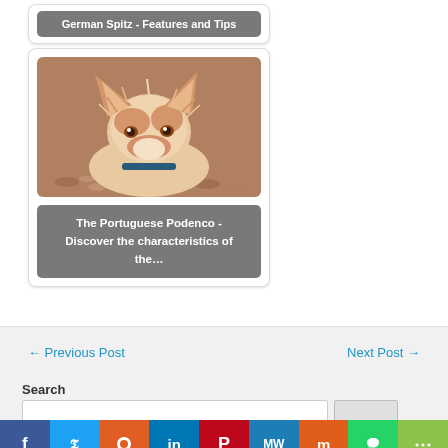German Spitz - Features and Tips
[Figure (photo): Photo of a Portuguese Podenco dog, scruffy white and tan fur, large ears, looking at camera, with a blurred gravel background]
The Portuguese Podenco - Discover the characteristics of the…
← Previous Post
Next Post →
Search